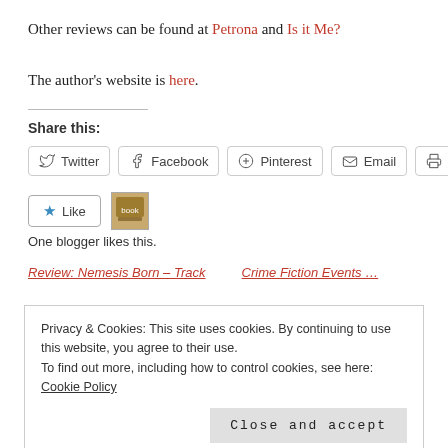Other reviews can be found at Petrona and Is it Me?
The author's website is here.
Share this:
Twitter  Facebook  Pinterest  Email  Print
Like
One blogger likes this.
Review: Nemesis Born – Track ...    Crime Fiction Events ...
Privacy & Cookies: This site uses cookies. By continuing to use this website, you agree to their use.
To find out more, including how to control cookies, see here: Cookie Policy
Close and accept
September 2, 2012
In "Reviews"